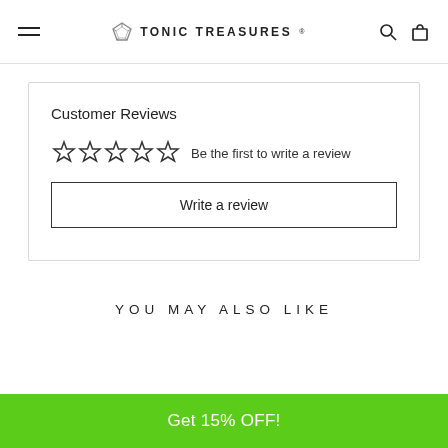TONIC TREASURES
Customer Reviews
☆☆☆☆☆  Be the first to write a review
Write a review
YOU MAY ALSO LIKE
Get 15% OFF!